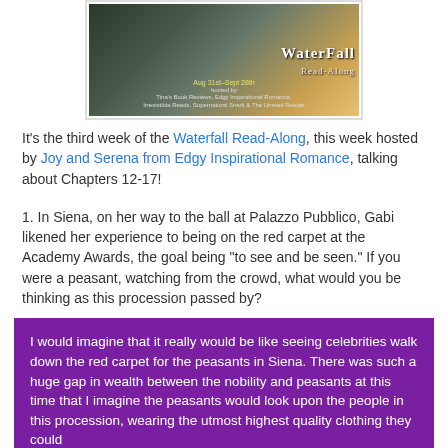[Figure (photo): Waterfall Read-Along banner image showing a dark fantasy/nature scene with text overlay: 'Waterfall Read-Along, Aug 31st-Sept 28th, hosted by Tina's Book Reviews, Edgy Inspirational Romance, Irresistible Reads, Supernatural Snark & The Unread Reader']
It's the third week of the Waterfall Read-Along, this week hosted by Joy and Serena from Edgy Inspirational Romance, talking about Chapters 12-17!
1. In Siena, on her way to the ball at Palazzo Pubblico, Gabi likened her experience to being on the red carpet at the Academy Awards, the goal being "to see and be seen." If you were a peasant, watching from the crowd, what would you be thinking as this procession passed by?
I would imagine that it really would be like seeing celebrities walk down the red carpet for the peasants in Siena. There was such a huge gap in wealth between the nobility and peasants at this time that I imagine the peasants would look upon the people in this procession, wearing the utmost highest quality clothing they could